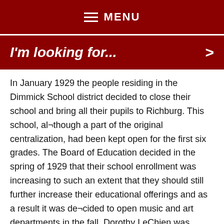MENU
I'm looking for...
In January 1929 the people residing in the Dimmick School district decided to close their school and bring all their pupils to Richburg. This school, al¬though a part of the original centralization, had been kept open for the first six grades. The Board of Education decided in the spring of 1929 that their school enrollment was increasing to such an extent that they should still further increase their educational offerings and as a result it was de¬cided to open music and art departments in the fall. Dorothy LeChien was employed to this position and opened these departments in the Richburg Central School in the fall term” of 1929. At the annual school meeting in August 1929 the School Board was authorized to dispose of the district school houses known as Pine Grove, Wirt Center, Cottrell and